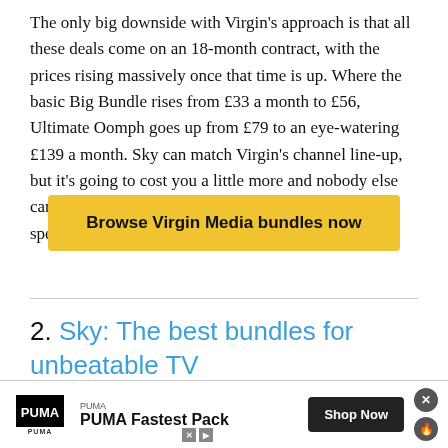The only big downside with Virgin's approach is that all these deals come on an 18-month contract, with the prices rising massively once that time is up. Where the basic Big Bundle rises from £33 a month to £56, Ultimate Oomph goes up from £79 to an eye-watering £139 a month. Sky can match Virgin's channel line-up, but it's going to cost you a little more and nobody else can offer you as many top channels along with such speedy fibre.
Browse Virgin Media bundles now
2. Sky: The best bundles for unbeatable TV
[Figure (screenshot): Screenshot of Sky Broadband Unlimited webpage with browser chrome visible]
[Figure (infographic): PUMA advertisement banner: PUMA logo, PUMA Fastest Pack text, Shop Now button, close and fire icons]